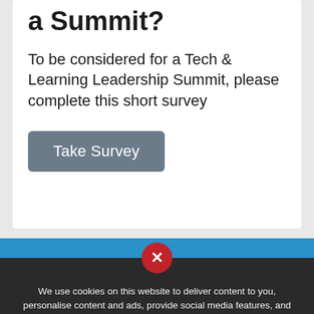a Summit?
To be considered for a Tech & Learning Leadership Summit, please complete this short survey
Take Survey
Testimonials
We use cookies on this website to deliver content to you, personalise content and ads, provide social media features, and analyse our traffic. Click 'I accept' to consent to the use of cookies. More information on cookies and how to manage them click here
I ACCEPT